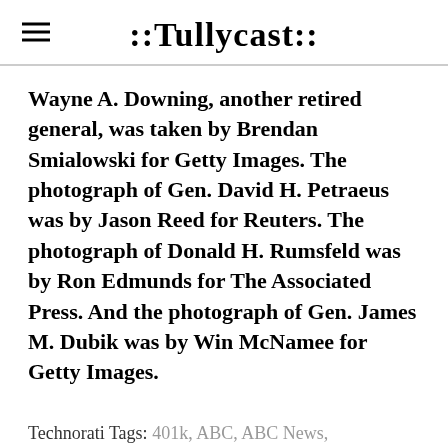::Tullycast::
Wayne A. Downing, another retired general, was taken by Brendan Smialowski for Getty Images. The photograph of Gen. David H. Petraeus was by Jason Reed for Reuters. The photograph of Donald H. Rumsfeld was by Ron Edmunds for The Associated Press. And the photograph of Gen. James M. Dubik was by Win McNamee for Getty Images.
Technorati Tags: 401k, ABC, ABC News, Abrams, Addington, AEI, Al-Qaeda, Ari Fleisher, Ashcroft, bailout, Baker Botts,